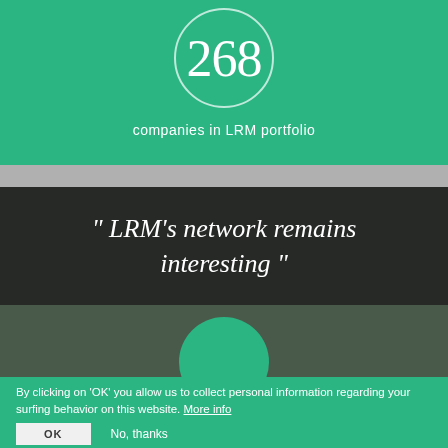[Figure (infographic): Teal circle with number 268 inside, on a green background]
companies in LRM portfolio
[Figure (photo): Dark overlay on aerial city photo with quote text: “ LRM’s network remains interesting ” in white italic serif font, with a teal circle at the bottom]
By clicking on 'OK' you allow us to collect personal information regarding your surfing behavior on this website. More info
OK
No, thanks